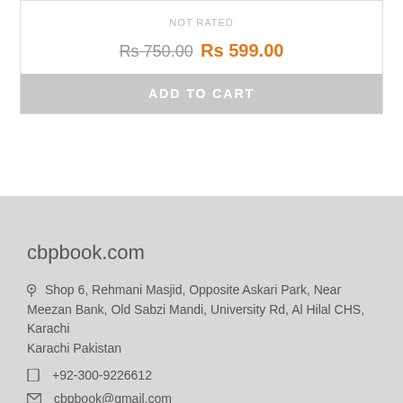NOT RATED
Rs 750.00 Rs 599.00
ADD TO CART
cbpbook.com
Shop 6, Rehmani Masjid, Opposite Askari Park, Near Meezan Bank, Old Sabzi Mandi, University Rd, Al Hilal CHS, Karachi Karachi Pakistan
+92-300-9226612
cbpbook@gmail.com